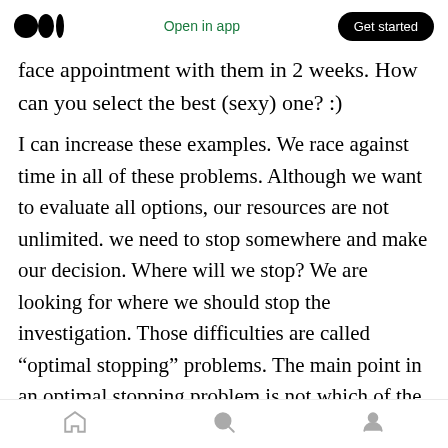Medium logo | Open in app | Get started
face appointment with them in 2 weeks. How can you select the best (sexy) one? :)
I can increase these examples. We race against time in all of these problems. Although we want to evaluate all options, our resources are not unlimited. we need to stop somewhere and make our decision. Where will we stop? We are looking for where we should stop the investigation. Those difficulties are called “optimal stopping” problems. The main point in an optimal stopping problem is not which of the options to choose, but how many to consider. The solution to the
Home | Search | Profile